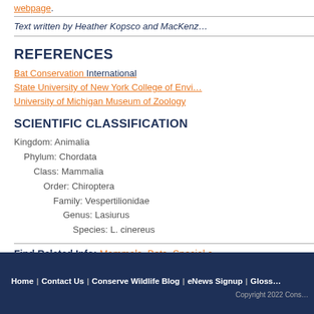webpage.
Text written by Heather Kopsco and MacKenz…
REFERENCES
Bat Conservation International
State University of New York College of Envi…
University of Michigan Museum of Zoology
SCIENTIFIC CLASSIFICATION
Kingdom: Animalia
Phylum: Chordata
Class: Mammalia
Order: Chiroptera
Family: Vespertilionidae
Genus: Lasiurus
Species: L. cinereus
Find Related Info: Mammals, Bats, Special c…
Home | Contact Us | Conserve Wildlife Blog | eNews Signup | Gloss… Copyright 2022 Cons…